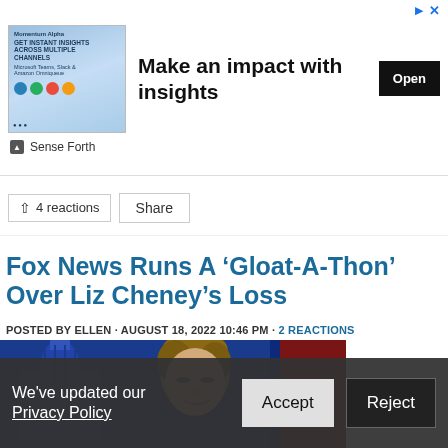[Figure (screenshot): Advertisement banner for Sense Forth featuring 'Make an impact with insights' with an Open button]
4 reactions   Share
Fox News Runs A ‘Gloat-A-Thon’ Over Liz Cheney’s Loss
POSTED BY ELLEN · AUGUST 18, 2022 10:46 PM · 2 REACTIONS
[Figure (photo): Photo of a man (Tucker Carlson) with US Capitol building in background on blue set]
We’ve updated our Privacy Policy  Accept  Reject